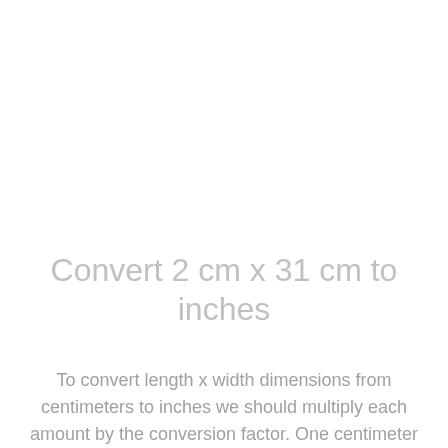Convert 2 cm x 31 cm to inches
To convert length x width dimensions from centimeters to inches we should multiply each amount by the conversion factor. One centimeter